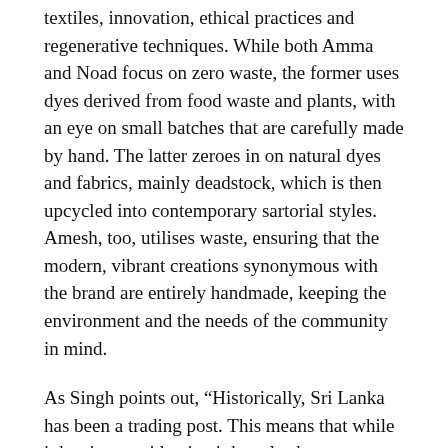textiles, innovation, ethical practices and regenerative techniques. While both Amma and Noad focus on zero waste, the former uses dyes derived from food waste and plants, with an eye on small batches that are carefully made by hand. The latter zeroes in on natural dyes and fabrics, mainly deadstock, which is then upcycled into contemporary sartorial styles. Amesh, too, utilises waste, ensuring that the modern, vibrant creations synonymous with the brand are entirely handmade, keeping the environment and the needs of the community in mind.
As Singh points out, “Historically, Sri Lanka has been a trading post. This means that while it has its own identity, it has also been influenced by waves of travellers who either came to settle or trade. The same culture, creativity and confluence is seen from two fresh perspectives, and the same source of inspiration is captured by two different perceptions and presented as a creative product, which is also true of these three brands.”